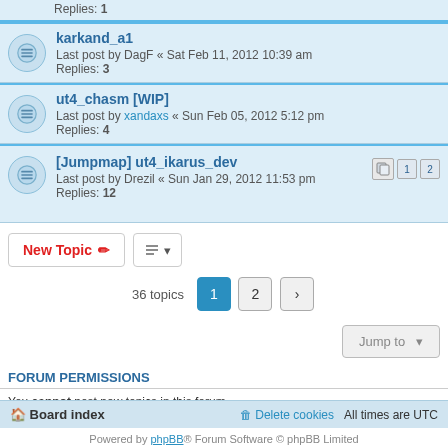Replies: 1
karkand_a1 — Last post by DagF « Sat Feb 11, 2012 10:39 am — Replies: 3
ut4_chasm [WIP] — Last post by xandaxs « Sun Feb 05, 2012 5:12 pm — Replies: 4
[Jumpmap] ut4_ikarus_dev — Last post by Drezil « Sun Jan 29, 2012 11:53 pm — Replies: 12
New Topic | Sort | 36 topics | 1 | 2 | > | Jump to
FORUM PERMISSIONS
You cannot post new topics in this forum
You cannot reply to topics in this forum
You cannot edit your posts in this forum
You cannot delete your posts in this forum
You cannot post attachments in this forum
Board index | Delete cookies | All times are UTC
Powered by phpBB® Forum Software © phpBB Limited